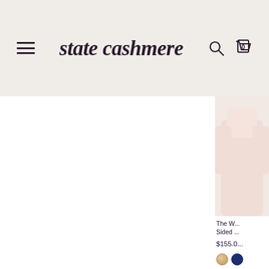state cashmere — navigation header with hamburger menu, search icon, and cart (0)
[Figure (photo): Partially visible product photo of a light pink/blush cashmere garment on white background]
The W... Sided ...
$155.0...